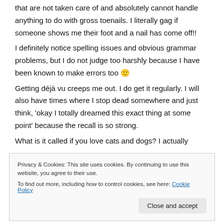that are not taken care of and absolutely cannot handle anything to do with gross toenails. I literally gag if someone shows me their foot and a nail has come off!!
I definitely notice spelling issues and obvious grammar problems, but I do not judge too harshly because I have been known to make errors too 🙂
Getting déjà vu creeps me out. I do get it regularly. I will also have times where I stop dead somewhere and just think, 'okay I totally dreamed this exact thing at some point' because the recall is so strong.
What is it called if you love cats and dogs? I actually
Privacy & Cookies: This site uses cookies. By continuing to use this website, you agree to their use.
To find out more, including how to control cookies, see here: Cookie Policy
You know that I.T. Guy... well I married him! My Hubby is a